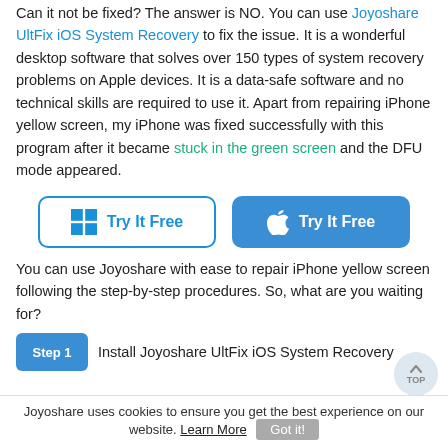Can it not be fixed? The answer is NO. You can use Joyoshare UltFix iOS System Recovery to fix the issue. It is a wonderful desktop software that solves over 150 types of system recovery problems on Apple devices. It is a data-safe software and no technical skills are required to use it. Apart from repairing iPhone yellow screen, my iPhone was fixed successfully with this program after it became stuck in the green screen and the DFU mode appeared.
[Figure (infographic): Two buttons side by side: a white button with Windows logo icon and 'Try It Free' text in blue, and a blue button with Apple logo icon and 'Try It Free' text in white.]
You can use Joyoshare with ease to repair iPhone yellow screen following the step-by-step procedures. So, what are you waiting for?
Step 1  Install Joyoshare UltFix iOS System Recovery
Joyoshare uses cookies to ensure you get the best experience on our website. Learn More  Got it!